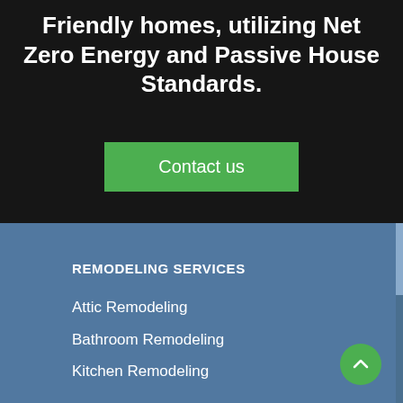Friendly homes, utilizing Net Zero Energy and Passive House Standards.
Contact us
REMODELING SERVICES
Attic Remodeling
Bathroom Remodeling
Kitchen Remodeling